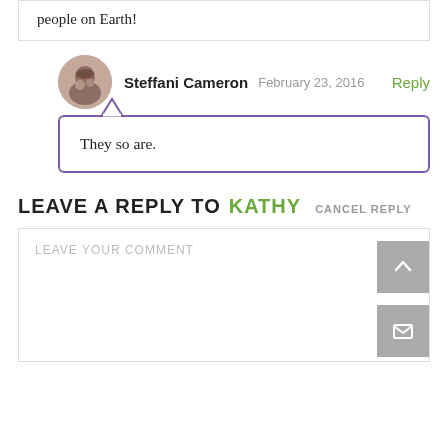people on Earth!
Steffani Cameron  February 23, 2016  Reply
They so are.
LEAVE A REPLY TO KATHY  CANCEL REPLY
LEAVE YOUR COMMENT